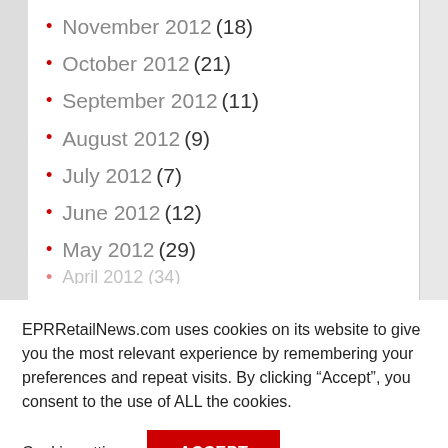November 2012 (18)
October 2012 (21)
September 2012 (11)
August 2012 (9)
July 2012 (7)
June 2012 (12)
May 2012 (29)
EPRRetailNews.com uses cookies on its website to give you the most relevant experience by remembering your preferences and repeat visits. By clicking “Accept”, you consent to the use of ALL the cookies.
Cookie settings  ACCEPT